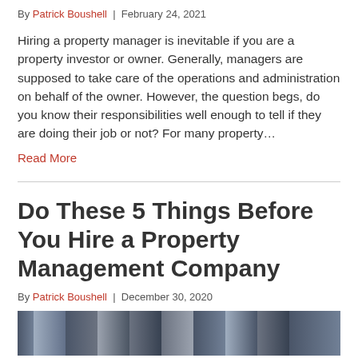By Patrick Boushell  |  February 24, 2021
Hiring a property manager is inevitable if you are a property investor or owner. Generally, managers are supposed to take care of the operations and administration on behalf of the owner. However, the question begs, do you know their responsibilities well enough to tell if they are doing their job or not? For many property…
Read More
Do These 5 Things Before You Hire a Property Management Company
By Patrick Boushell  |  December 30, 2020
[Figure (photo): Thumbnail photo for the article about hiring a property management company]